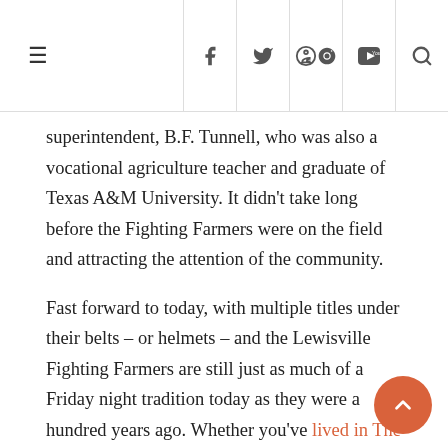≡  f  twitter  pinterest  youtube  search
superintendent, B.F. Tunnell, who was also a vocational agriculture teacher and graduate of Texas A&M University. It didn't take long before the Fighting Farmers were on the field and attracting the attention of the community.
Fast forward to today, with multiple titles under their belts – or helmets – and the Lewisville Fighting Farmers are still just as much of a Friday night tradition today as they were a hundred years ago. Whether you've lived in The Colony your entire life, or are a newcomer to the community, you're not going to want to miss this age old Friday night tradition.
Marcus Boys Basketball
We couldn't round out our list of great local high school athletics without including the Marcus Marauders basketball team from Flower Mound. While the Marcus Marauders have an